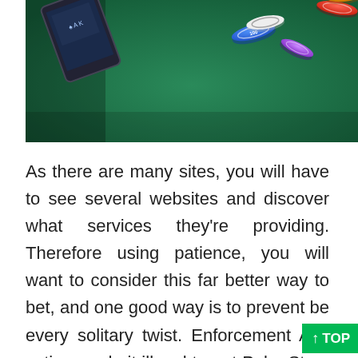[Figure (photo): Photo of poker chips flying over a green felt casino table with a tablet/card showing in the background]
As there are many sites, you will have to see several websites and discover what services they're providing. Therefore using patience, you will want to consider this far better way to bet, and one good way is to prevent betting every solitary twist. Enforcement Act. This action made it illegal to get PokerStars to accept US players and illegal US banks to process payments connected with online poker. This is only one of the principal reasons